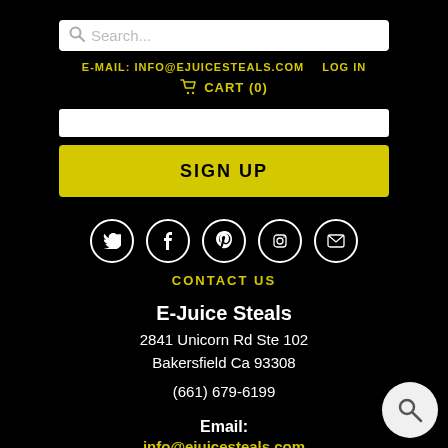[Figure (screenshot): Search bar with magnifying glass icon and placeholder text 'Search...']
E-MAIL: INFO@EJUICESTEALS.COM   LOG IN
CART (0)
[Figure (screenshot): Email input field (white bar)]
SIGN UP
[Figure (screenshot): Social media icons: Twitter, Facebook, Pinterest, Instagram, Email - each in white circle]
CONTACT US
E-Juice Steals
2841 Unicorn Rd Ste 102
Bakersfield Ca 93308
(661) 679-6199
Email:
info@ejuicesteals.com